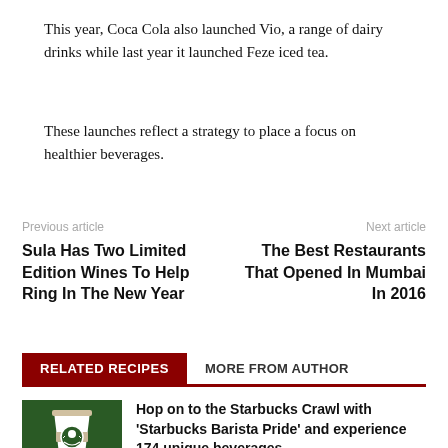This year, Coca Cola also launched Vio, a range of dairy drinks while last year it launched Feze iced tea.
These launches reflect a strategy to place a focus on healthier beverages.
Previous article
Sula Has Two Limited Edition Wines To Help Ring In The New Year
Next article
The Best Restaurants That Opened In Mumbai In 2016
RELATED RECIPES	MORE FROM AUTHOR
Hop on to the Starbucks Crawl with 'Starbucks Barista Pride' and experience 174 unique beverages